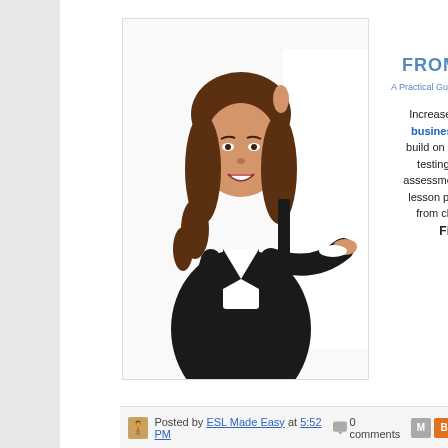FROM TEACHI
A Practical Guide for Increasing Income
[Figure (photo): Woman in business attire standing behind a white banner, pointing with one hand and smiling]
Increase your income with a business during your off hours, build on skills and prepare for testing. Learn about student assessment, finding and keeping clients, lesson plans, billing and rates, transitioning from classroom teaching.
Find out m
Posted by ESL Made Easy at 5:52 PM   0 comments